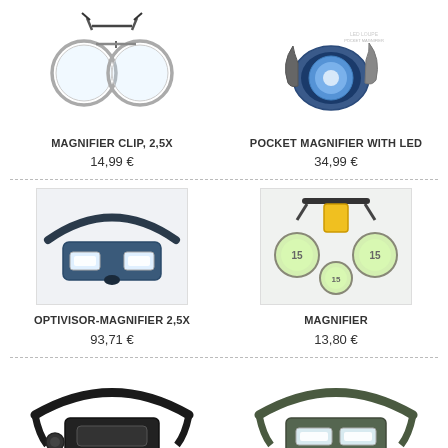[Figure (photo): Magnifier clip with two large circular lenses on a clip frame]
MAGNIFIER CLIP, 2,5X
14,99 €
[Figure (photo): Pocket magnifier with LED light, folded blue/grey design]
POCKET MAGNIFIER WITH LED
34,99 €
[Figure (photo): Optivisor headband magnifier with dual lens and LED lights]
OPTIVISOR-MAGNIFIER 2,5X
93,71 €
[Figure (photo): Clip-on magnifier with three interchangeable yellow lens attachments and hanger clip]
MAGNIFIER
13,80 €
[Figure (photo): Black headband magnifier visor with single front lens]
[Figure (photo): Dark green/grey headband magnifier with dual front lens]